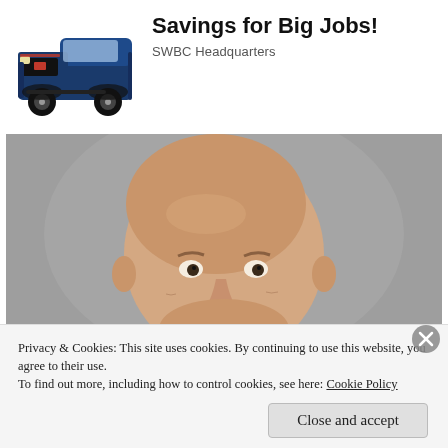Savings for Big Jobs!
SWBC Headquarters
[Figure (photo): Blue RAM pickup truck, front three-quarter view on white background]
[Figure (photo): Headshot portrait of an elderly bald man in a dark suit, gray background]
Privacy & Cookies: This site uses cookies. By continuing to use this website, you agree to their use.
To find out more, including how to control cookies, see here: Cookie Policy
Close and accept